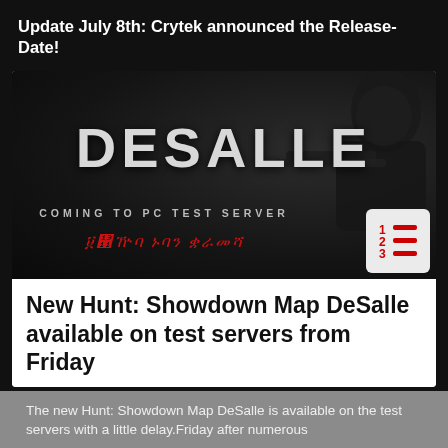Update July 8th: Crytek announced the Release-Date!
[Figure (screenshot): Hunt: Showdown DeSalle map promotional image showing a soldier with a sniper rifle, with text 'DESALLE - COMING TO PC TEST SERVER' and decorative red script text below. A numbered list icon appears in the bottom right corner.]
New Hunt: Showdown Map DeSalle available on test servers from Friday
The new Hunt: Showdown Map DeSalle is available on the test servers with a little delay.Friday after numerous